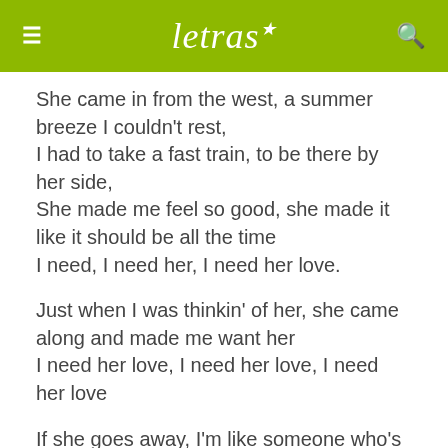letras
She came in from the west, a summer breeze I couldn't rest,
I had to take a fast train, to be there by her side,
She made me feel so good, she made it like it should be all the time
I need, I need her, I need her love.
Just when I was thinkin' of her, she came along and made me want her
I need her love, I need her love, I need her love
If she goes away, I'm like someone who's left out in the rain,
I need, I need her, I need her love.